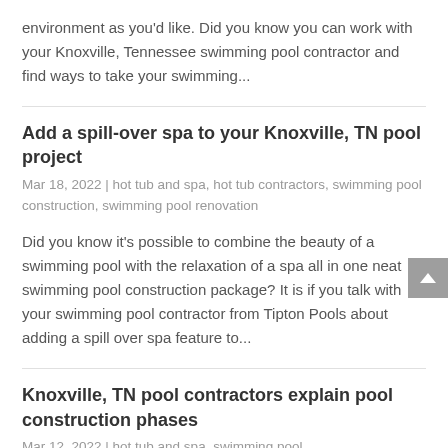environment as you'd like. Did you know you can work with your Knoxville, Tennessee swimming pool contractor and find ways to take your swimming...
Add a spill-over spa to your Knoxville, TN pool project
Mar 18, 2022 | hot tub and spa, hot tub contractors, swimming pool construction, swimming pool renovation
Did you know it's possible to combine the beauty of a swimming pool with the relaxation of a spa all in one neat swimming pool construction package? It is if you talk with your swimming pool contractor from Tipton Pools about adding a spill over spa feature to...
Knoxville, TN pool contractors explain pool construction phases
Mar 12, 2022 | hot tub and spa, swimming pool